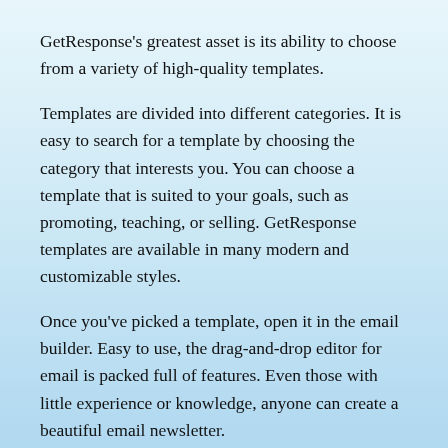GetResponse's greatest asset is its ability to choose from a variety of high-quality templates.
Templates are divided into different categories. It is easy to search for a template by choosing the category that interests you. You can choose a template that is suited to your goals, such as promoting, teaching, or selling. GetResponse templates are available in many modern and customizable styles.
Once you've picked a template, open it in the email builder. Easy to use, the drag-and-drop editor for email is packed full of features. Even those with little experience or knowledge, anyone can create a beautiful email newsletter.
If you know how to code, you can also start based on an HTML design or code it from scratch using the option for custom HTML blocks.